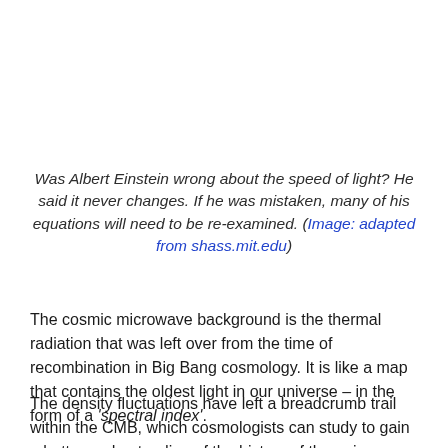Was Albert Einstein wrong about the speed of light? He said it never changes. If he was mistaken, many of his equations will need to be re-examined. (Image: adapted from shass.mit.edu)
The cosmic microwave background is the thermal radiation that was left over from the time of recombination in Big Bang cosmology. It is like a map that contains the oldest light in our universe – in the form of a 'spectral index'.
The density fluctuations have left a breadcrumb trail within the CMB, which cosmologists can study to gain a better understanding of the history of the universe. The technical